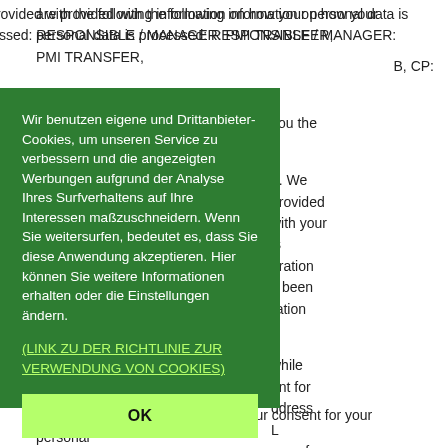are provided with the following information on how your personal data is processed: RESPONSIBLE / MANAGER: PMI TRANSFER, ..., CP:
[Figure (screenshot): A green cookie consent overlay dialog in German, containing text about using first-party and third-party cookies to improve services and tailor advertising based on browsing behavior. Includes a link to cookie policy and an OK button.]
you the ... h. We provided with your is uration s been ration ... while ent for ddress L nce of a e steps contract,
and in any event you have given your consent for your personal